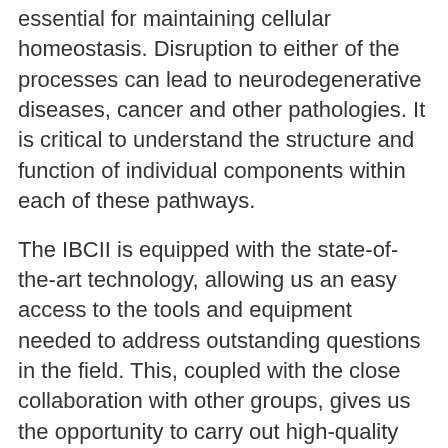essential for maintaining cellular homeostasis. Disruption to either of the processes can lead to neurodegenerative diseases, cancer and other pathologies. It is critical to understand the structure and function of individual components within each of these pathways.
The IBCII is equipped with the state-of-the-art technology, allowing us an easy access to the tools and equipment needed to address outstanding questions in the field. This, coupled with the close collaboration with other groups, gives us the opportunity to carry out high-quality science, with the aim for our research to eventually be translated into medicine.
Lab Tweets: